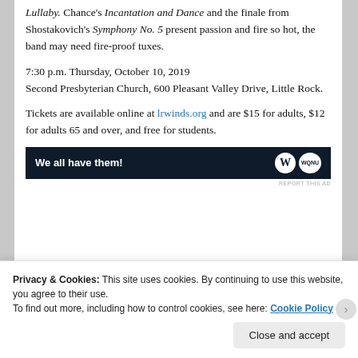Lullaby. Chance's Incantation and Dance and the finale from Shostakovich's Symphony No. 5 present passion and fire so hot, the band may need fire-proof tuxes.
7:30 p.m. Thursday, October 10, 2019
Second Presbyterian Church, 600 Pleasant Valley Drive, Little Rock.
Tickets are available online at lrwinds.org and are $15 for adults, $12 for adults 65 and over, and free for students.
[Figure (other): Advertisement banner with dark navy background, 'We all have them!' in white bold text, and logos on the right side.]
Privacy & Cookies: This site uses cookies. By continuing to use this website, you agree to their use.
To find out more, including how to control cookies, see here: Cookie Policy
Close and accept